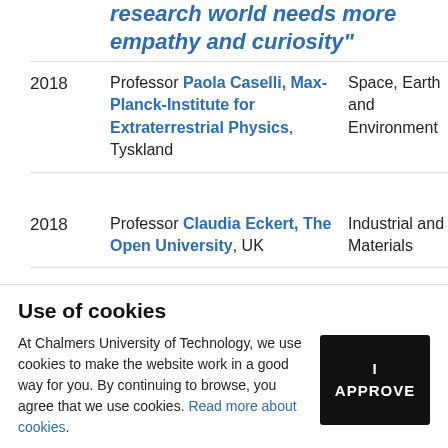research world needs more empathy and curiosity"
| Year | Name/Institution | Field |
| --- | --- | --- |
| 2018 | Professor Paola Caselli, Max-Planck-Institute for Extraterrestrial Physics, Tyskland | Space, Earth and Environment |
| 2018 | Professor Claudia Eckert, The Open University, UK | Industrial and Materials |
Use of cookies
At Chalmers University of Technology, we use cookies to make the website work in a good way for you. By continuing to browse, you agree that we use cookies. Read more about cookies.